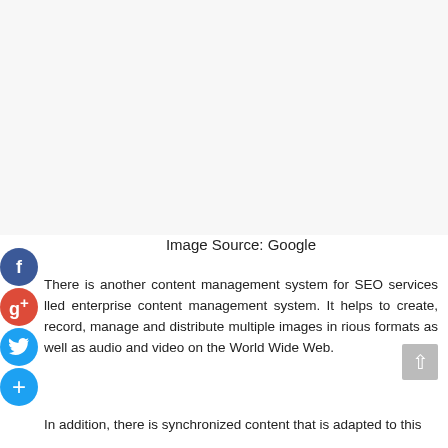[Figure (other): Blank/white image placeholder area at top of page]
Image Source: Google
There is another content management system for SEO services lled enterprise content management system. It helps to create, record, manage and distribute multiple images in rious formats as well as audio and video on the World Wide Web.
In addition, there is synchronized content that is adapted to this